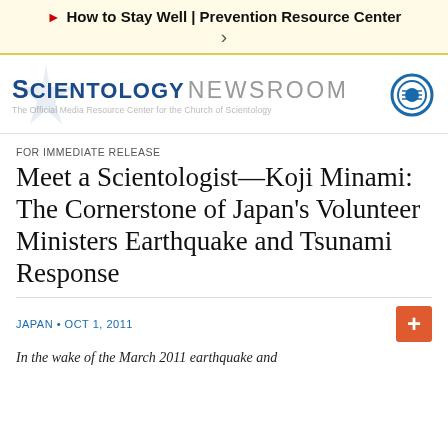► How to Stay Well | Prevention Resource Center >
[Figure (logo): Scientology Newsroom logo with tagline: The Official Media Resource Center for the Church of Scientology, and a circular blue icon on the right.]
FOR IMMEDIATE RELEASE
Meet a Scientologist—Koji Minami: The Cornerstone of Japan's Volunteer Ministers Earthquake and Tsunami Response
JAPAN • OCT 1, 2011
In the wake of the March 2011 earthquake and